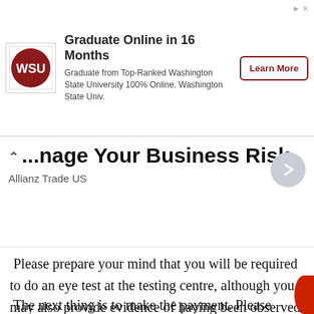[Figure (other): Advertisement banner for Washington State University online graduate program with WSU logo, 'Graduate Online in 16 Months' headline, subtext, and 'Learn More' button]
Manage Your Business Risk
Allianz Trade US
Please prepare your mind that you will be required to do an eye test at the testing centre, although you may also provide evidence of having been observed by a qualified optometrist.
The next thing is to make the payment. Please request the cost at the testing centre,